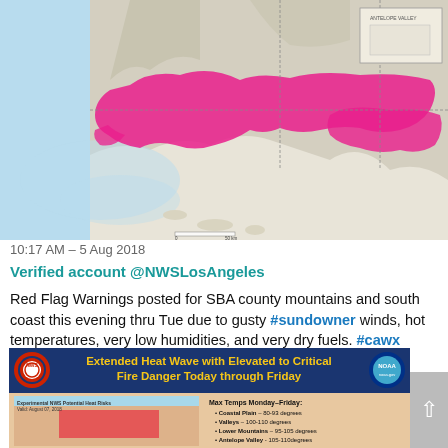[Figure (map): NWS Los Angeles Red Flag Warning map showing a large pink/magenta highlighted area over Southern California coastal mountains and south coast. The map shows the Pacific Ocean coastline, Channel Islands, and inland areas with a prominent pink overlay indicating warning zone.]
10:17 AM – 5 Aug 2018
Verified account @NWSLosAngeles
Red Flag Warnings posted for SBA county mountains and south coast this evening thru Tue due to gusty #sundowner winds, hot temperatures, very low humidities, and very dry fuels. #cawx #socal #SBAWeather
[Figure (infographic): NWS/NOAA banner graphic titled 'Extended Heat Wave with Elevated to Critical Fire Danger Today through Friday' with NWS logo on left and NOAA logo on right in blue background. Below is a heat risk map of Southern California and temperature information: Coastal Plain 80-93 degrees, Valleys 100-110 degrees, Lower Mountains 95-105 degrees, Antelope Valley 105-110 degrees.]